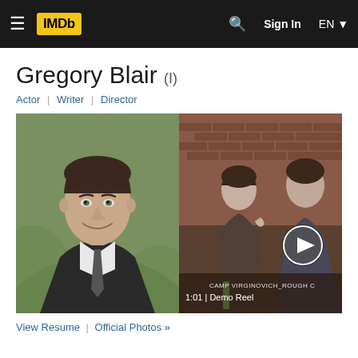IMDb navigation bar with logo, search, Sign In, EN
Gregory Blair (I)
Actor | Writer | Director
[Figure (photo): Headshot of Gregory Blair, a man smiling in a suit with a tie, against a blurred green outdoor background]
[Figure (screenshot): Video thumbnail showing two women in an indoor scene with brick fireplace background, with play button overlay, duration 1:01 Demo Reel, and text CAMP VIRGINOVICH_ROUGH C]
View Resume | Official Photos »